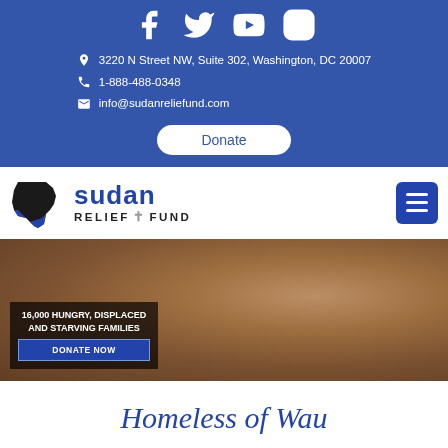3220 N Street NW, Suite 302, Washington, DC 20007 | 1-888-488-0348 | info@sudanreliefund.com
[Figure (logo): Sudan Relief Fund logo with map of Sudan silhouette and text 'sudan RELIEF + FUND']
[Figure (photo): Hero image of two African children with overlay text '16,000 HUNGRY, DISPLACED AND STARVING FAMILIES' and a 'DONATE NOW' button]
Homeless of Wau